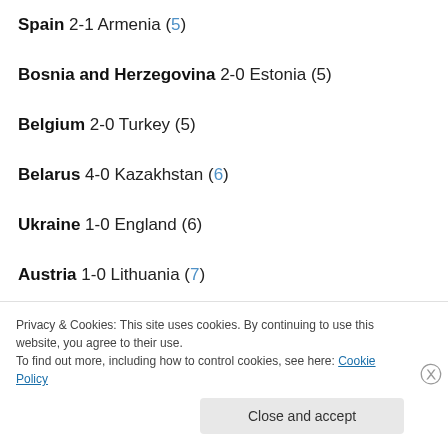Spain 2-1 Armenia (5)
Bosnia and Herzegovina 2-0 Estonia (5)
Belgium 2-0 Turkey (5)
Belarus 4-0 Kazakhstan (6)
Ukraine 1-0 England (6)
Austria 1-0 Lithuania (7)
Serbia 5-0 Romania (7)
Privacy & Cookies: This site uses cookies. By continuing to use this website, you agree to their use. To find out more, including how to control cookies, see here: Cookie Policy
Close and accept